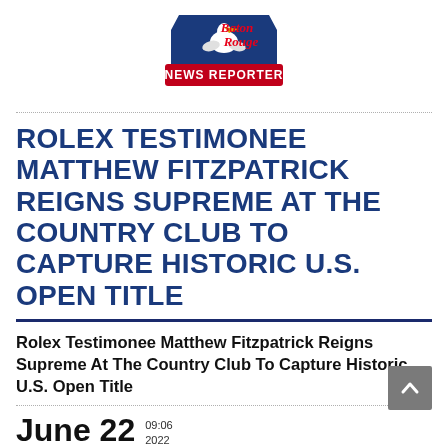[Figure (logo): Baton Rouge News Reporter logo — blue Louisiana state shape with pelican, red banner reading NEWS REPORTER, red cursive text Baton Rouge]
ROLEX TESTIMONEE MATTHEW FITZPATRICK REIGNS SUPREME AT THE COUNTRY CLUB TO CAPTURE HISTORIC U.S. OPEN TITLE
Rolex Testimonee Matthew Fitzpatrick Reigns Supreme At The Country Club To Capture Historic U.S. Open Title
June 22  09:06  2022